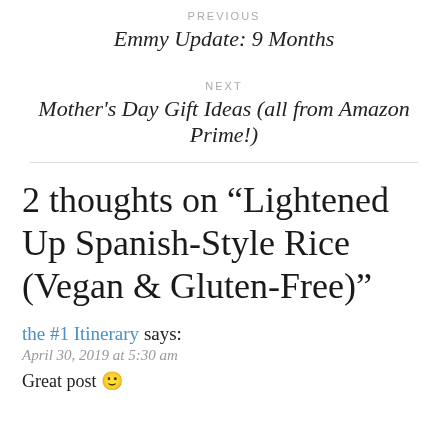PREVIOUS
Emmy Update: 9 Months
NEXT
Mother's Day Gift Ideas (all from Amazon Prime!)
2 thoughts on “Lightened Up Spanish-Style Rice (Vegan & Gluten-Free)”
the #1 Itinerary says:
April 30, 2019 at 5:30 am
Great post 🙂